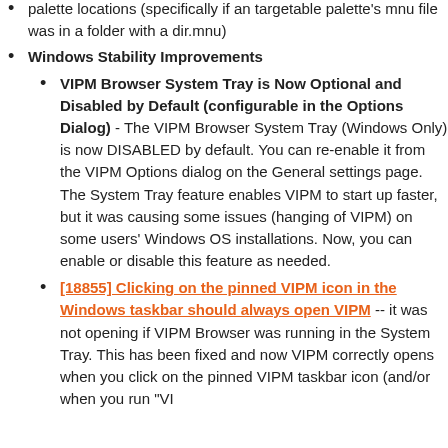palette locations (specifically if an targetable palette's mnu file was in a folder with a dir.mnu)
Windows Stability Improvements
VIPM Browser System Tray is Now Optional and Disabled by Default (configurable in the Options Dialog) - The VIPM Browser System Tray (Windows Only) is now DISABLED by default. You can re-enable it from the VIPM Options dialog on the General settings page. The System Tray feature enables VIPM to start up faster, but it was causing some issues (hanging of VIPM) on some users' Windows OS installations. Now, you can enable or disable this feature as needed.
[18855] Clicking on the pinned VIPM icon in the Windows taskbar should always open VIPM -- it was not opening if VIPM Browser was running in the System Tray. This has been fixed and now VIPM correctly opens when you click on the pinned VIPM taskbar icon (and/or when you run "VI